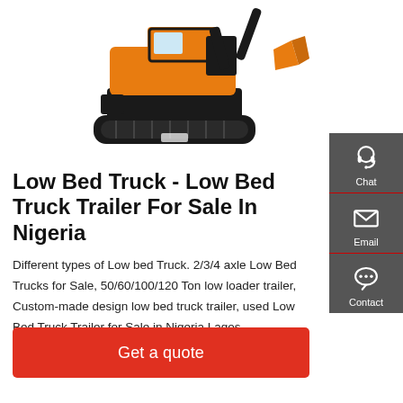[Figure (photo): Orange and black mini excavator/crawler excavator on white background]
Low Bed Truck - Low Bed Truck Trailer For Sale In Nigeria
Different types of Low bed Truck. 2/3/4 axle Low Bed Trucks for Sale, 50/60/100/120 Ton low loader trailer, Custom-made design low bed truck trailer, used Low Bed Truck Trailer for Sale in Nigeria Lagos.
[Figure (infographic): Dark grey sidebar with Chat (headset icon), Email (envelope icon), and Contact (speech bubble icon) buttons]
Get a quote